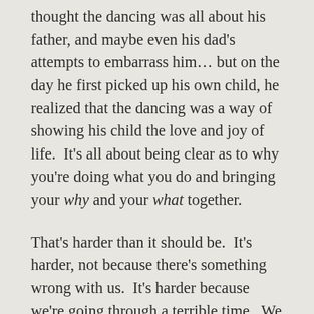thought the dancing was all about his father, and maybe even his dad's attempts to embarrass him… but on the day he first picked up his own child, he realized that the dancing was a way of showing his child the love and joy of life.  It's all about being clear as to why you're doing what you do and bringing your why and your what together.
That's harder than it should be.  It's harder, not because there's something wrong with us.  It's harder because we're going through a terrible time.  We didn't expect this, couldn't plan for it. We're all stressed; we hoped that COVID would be completely gone by now, and instead we keep getting new variants.  Yes, this may end better than last year, but the damage...